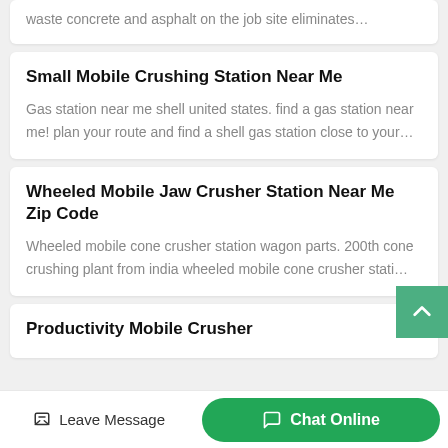waste concrete and asphalt on the job site eliminates…
Small Mobile Crushing Station Near Me
Gas station near me shell united states. find a gas station near me! plan your route and find a shell gas station close to your…
Wheeled Mobile Jaw Crusher Station Near Me Zip Code
Wheeled mobile cone crusher station wagon parts. 200th cone crushing plant from india wheeled mobile cone crusher stati…
Productivity Mobile Crusher
Leave Message
Chat Online